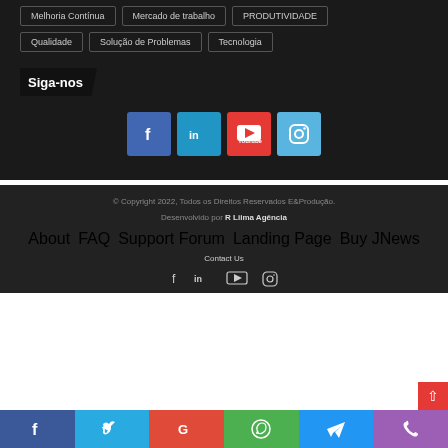Melhoria Contínua
Mercado de trabalho
PRODUTIVIDADE
Qualidade
Solução de Problemas
Tecnologia
Siga-nos
[Figure (infographic): Four social media icon buttons: Facebook (blue), LinkedIn (light blue), YouTube (red), Instagram (light blue)]
© Copyright 2022, Todos os Direitos Reservados E&Produção.
Desenvolvido por R Liima Agência
About  FAQ  Support Forum  Landing Page  Buy JNews
Contact Us
[Figure (infographic): Small social media icons: Facebook, LinkedIn, YouTube, Instagram]
Facebook | Twitter | Google | WhatsApp | Telegram | Phone share bar